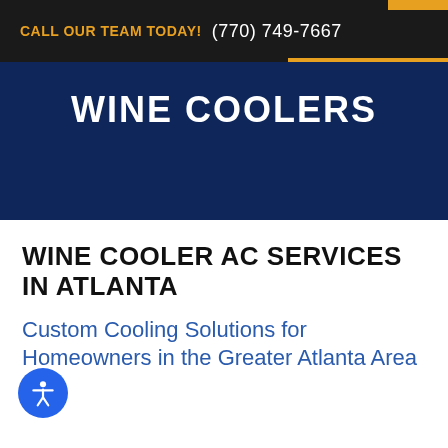CALL OUR TEAM TODAY! (770) 749-7667
WINE COOLERS
WINE COOLER AC SERVICES IN ATLANTA
Custom Cooling Solutions for Homeowners in the Greater Atlanta Area